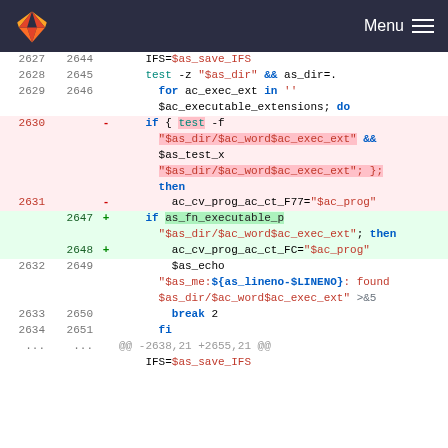GitLab — Menu
[Figure (screenshot): Code diff view showing shell script changes, lines 2627-2651, with deleted lines (red) and added lines (green). Removed code used 'if { test -f ... && $as_test_x ...; };' pattern, replaced with 'if as_fn_executable_p' pattern. Variable ac_cv_prog_ac_ct_F77 replaced with ac_cv_prog_ac_ct_FC.]